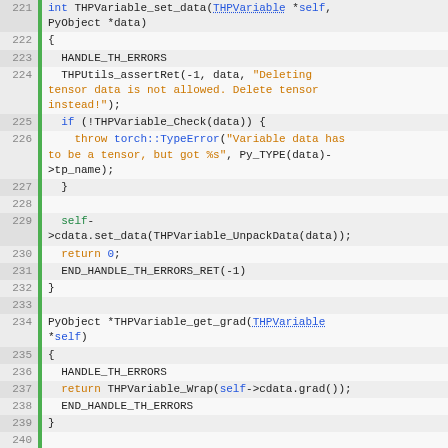[Figure (screenshot): Code screenshot showing C++ source code for THPVariable_set_data, THPVariable_get_grad, and THPVariable_set_grad functions with syntax highlighting. Line numbers 221-247 visible on the left. Green vertical bar separates line numbers from code. Keywords in blue and orange, strings in orange, function names and types with syntax coloring.]